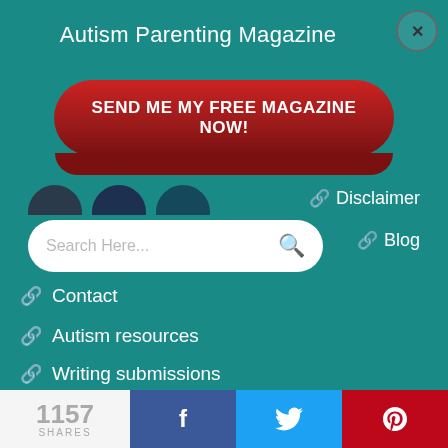Autism Parenting Magazine
SEND ME MY FREE MAGAZINE NOW!
Disclaimer
Blog
Contact
Autism resources
Writing submissions
Advertise with us
1157 SHARES